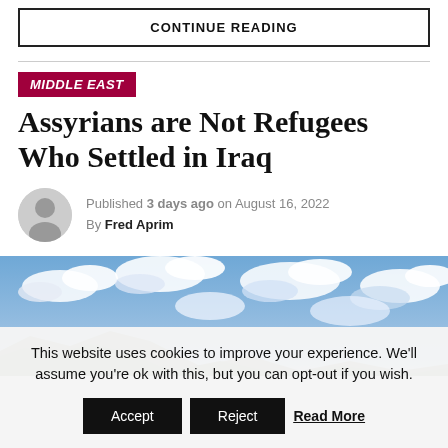CONTINUE READING
MIDDLE EAST
Assyrians are Not Refugees Who Settled in Iraq
Published 3 days ago on August 16, 2022
By Fred Aprim
[Figure (photo): Landscape photo with cloudy blue sky and terrain in lower left corner]
This website uses cookies to improve your experience. We'll assume you're ok with this, but you can opt-out if you wish. Accept Reject Read More